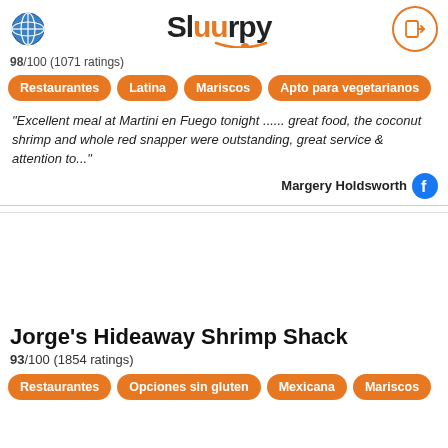Sluurpy
98/100 (1071 ratings)
Restaurantes
Latina
Mariscos
Apto para vegetarianos
"Excellent meal at Martini en Fuego tonight ...... great food, the coconut shrimp and whole red snapper were outstanding, great service & attention to..."
Margery Holdsworth
Jorge's Hideaway Shrimp Shack
93/100 (1854 ratings)
Restaurantes
Opciones sin gluten
Mexicana
Mariscos